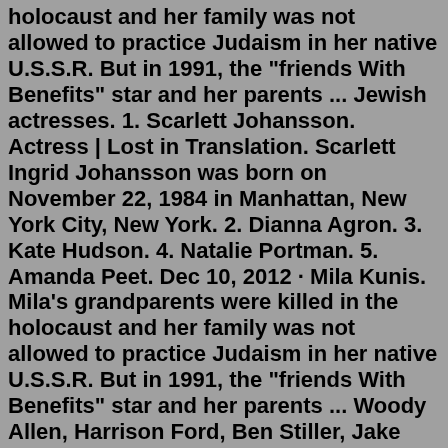holocaust and her family was not allowed to practice Judaism in her native U.S.S.R. But in 1991, the "friends With Benefits" star and her parents ... Jewish actresses. 1. Scarlett Johansson. Actress | Lost in Translation. Scarlett Ingrid Johansson was born on November 22, 1984 in Manhattan, New York City, New York. 2. Dianna Agron. 3. Kate Hudson. 4. Natalie Portman. 5. Amanda Peet. Dec 10, 2012 · Mila Kunis. Mila's grandparents were killed in the holocaust and her family was not allowed to practice Judaism in her native U.S.S.R. But in 1991, the "friends With Benefits" star and her parents ... Woody Allen, Harrison Ford, Ben Stiller, Jake Gylenhaal, Adam Sandler, Daniel Radcliffe, Dustin Hoffman and Daneil Day Lewis are a few famous Jewish actors who have earned fans in almost every nook and corner of the world.Famous Jewish Actresses. October 11, 2011. These are some of the Jewish actresses from today. Natalie Portman, Scarlett Johansson, Mila Kunis, Gwyneth Paltrow, Alicia Silverstone, Emmanuelle Chriqui, Rachel